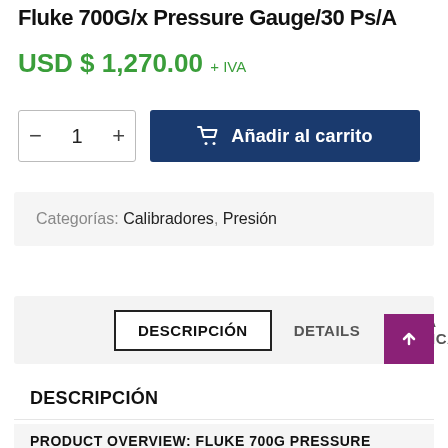Fluke 700G/x Pressure Gauge/30 P s/A
USD $ 1,270.00 + IVA
- 1 + Añadir al carrito
Categorías: Calibradores, Presión
DESCRIPCIÓN | DETAILS | FICHA TECNICA
DESCRIPCIÓN
PRODUCT OVERVIEW: FLUKE 700G PRESSURE